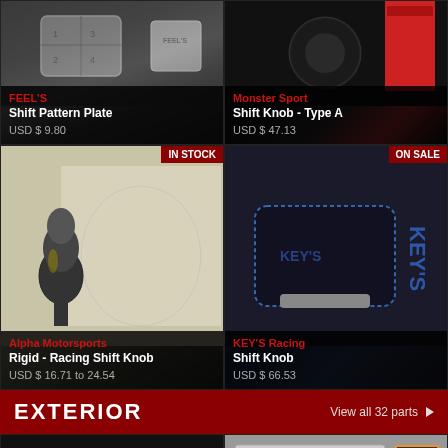[Figure (photo): FEEL'S Shift Pattern Plate product photo - silver metal plate with gear pattern]
FEEL'S
Shift Pattern Plate
USD $ 9.80
[Figure (photo): Monster Sport Shift Knob Type A product photo - black sphere on red packaging]
Monster Sport
Shift Knob - Type A
USD $ 47.13
[Figure (photo): Alpha Motorsports Rigid Racing Shift Knob - black tapered shift knob with illustrated background, IN STOCK badge]
Alpha Motorsports
Rigid - Racing Shift Knob
USD $ 16.71 to 24.54
[Figure (photo): KEY'S Racing Shift Knob - black leather wrapped knob with blue stitching, ON SALE badge]
KEY'S Racing
Shift Knob
USD $ 66.53
EXTERIOR
View all 32 parts ▶
[Figure (photo): Exterior part product photo - dark floor mat with snap button]
[Figure (photo): Exterior part product photo - Tangun branded item with decal/sticker on packaging]